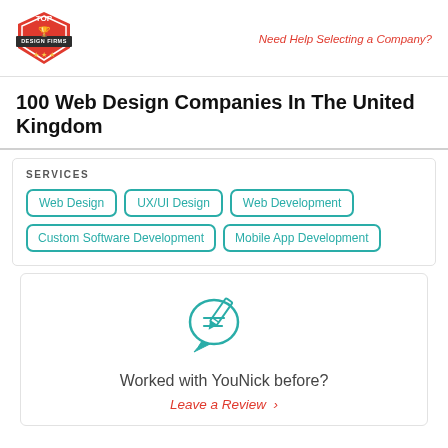Top Design Firms | Need Help Selecting a Company?
100 Web Design Companies In The United Kingdom
SERVICES
Web Design
UX/UI Design
Web Development
Custom Software Development
Mobile App Development
[Figure (illustration): Speech bubble with pencil/review icon in teal]
Worked with YouNick before?
Leave a Review >